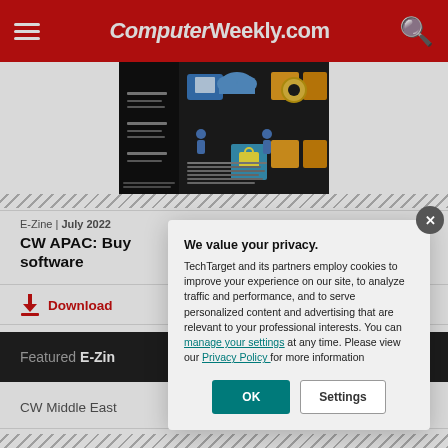ComputerWeekly.com
[Figure (screenshot): Magazine cover image showing cloud computing and software icons on dark background]
E-Zine | July 2022
CW APAC: Buy software
Download
Featured E-Zines
CW Middle East
We value your privacy. TechTarget and its partners employ cookies to improve your experience on our site, to analyze traffic and performance, and to serve personalized content and advertising that are relevant to your professional interests. You can manage your settings at any time. Please view our Privacy Policy for more information